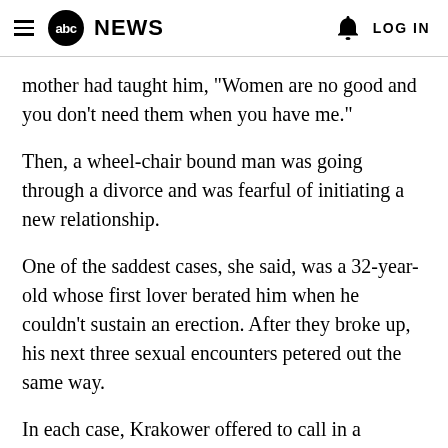abc NEWS  LOG IN
mother had taught him, "Women are no good and you don't need them when you have me."
Then, a wheel-chair bound man was going through a divorce and was fearful of initiating a new relationship.
One of the saddest cases, she said, was a 32-year-old whose first lover berated him when he couldn't sustain an erection. After they broke up, his next three sexual encounters petered out the same way.
In each case, Krakower offered to call in a surrogate, someone who is paid to consult with